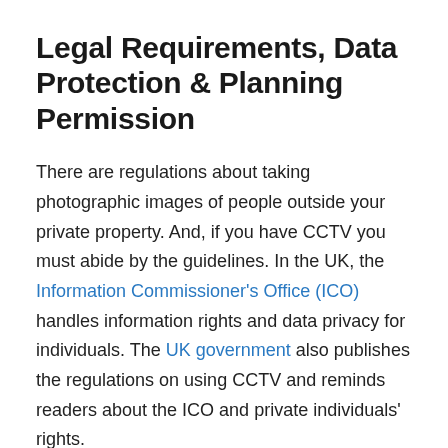Legal Requirements, Data Protection & Planning Permission
There are regulations about taking photographic images of people outside your private property. And, if you have CCTV you must abide by the guidelines. In the UK, the Information Commissioner's Office (ICO) handles information rights and data privacy for individuals. The UK government also publishes the regulations on using CCTV and reminds readers about the ICO and private individuals' rights.